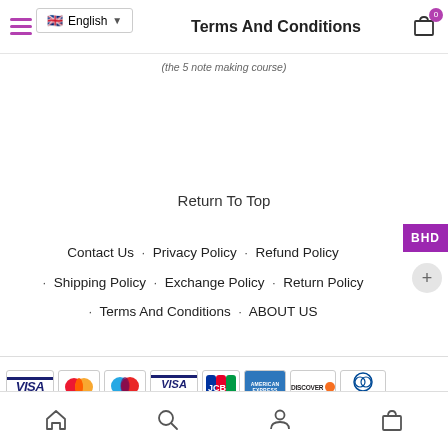Terms And Conditions
(the 5 note making course)
Return To Top
Contact Us · Privacy Policy · Refund Policy · Shipping Policy · Exchange Policy · Return Policy · Terms And Conditions · ABOUT US
[Figure (other): Payment method logos: VISA, Mastercard, Maestro, VISA Electron, JCB, American Express, Discover, Diners Club International]
Copyright @ 2021 aosam. All Rights Reserved.
Bottom navigation bar with home, search, account, and cart icons